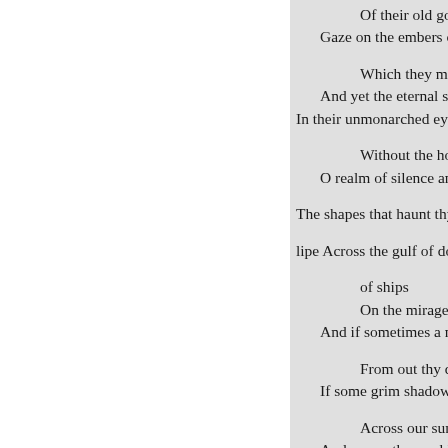Of their old godhead lorn
Gaze on the embers of the s

Which they misdeem for
And yet the eternal sorrow
In their unmonarc​hed eyes s

Without the hope of morro
O realm of silence and of sw

The shapes that haunt thy gloo

lipe Across the gulf of doom; Yet

of ships
On the mirage's ocean.
And if sometimes a moanin

From out thy desolate hall
If some grim shadow of thy

Across our sunshine falls
And scares the world to em
The eternal life sends forth

breath To chase the misty terror.